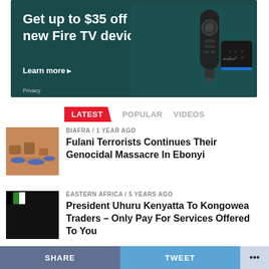[Figure (photo): Amazon Fire TV advertisement banner with dark teal background. Text reads 'Get up to $35 off a new Fire TV device' with 'Learn more ▸' link and Fire TV remote and device shown on right.]
LATEST   POPULAR   VIDEOS
[Figure (photo): Thumbnail image of people on ground, news article thumbnail for Biafra story.]
BIAFRA / 1 year ago
Fulani Terrorists Continues Their Genocidal Massacre In Ebonyi
[Figure (photo): Dark thumbnail image for Eastern Africa story about President Uhuru Kenyatta.]
EASTERN AFRICA / 5 years ago
President Uhuru Kenyatta To Kongowea Traders – Only Pay For Services Offered To You
SHARE   TWEET   ...